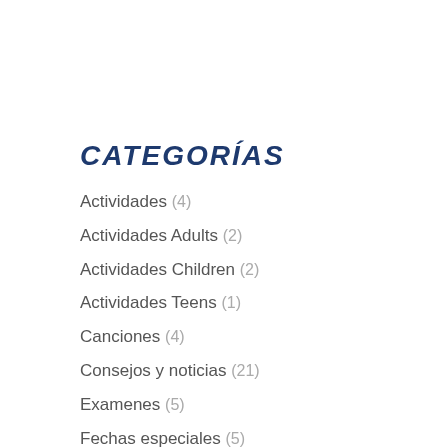CATEGORÍAS
Actividades (4)
Actividades Adults (2)
Actividades Children (2)
Actividades Teens (1)
Canciones (4)
Consejos y noticias (21)
Examenes (5)
Fechas especiales (5)
Sin categoria (2)
ÚLTIMAS ENTRADAS